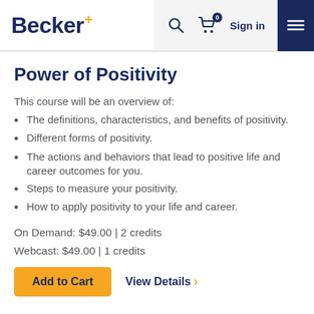Becker+ | Search | Cart 0 | Sign in | Menu
Power of Positivity
This course will be an overview of:
The definitions, characteristics, and benefits of positivity.
Different forms of positivity.
The actions and behaviors that lead to positive life and career outcomes for you.
Steps to measure your positivity.
How to apply positivity to your life and career.
On Demand: $49.00 | 2 credits
Webcast: $49.00 | 1 credits
Add to Cart  View Details